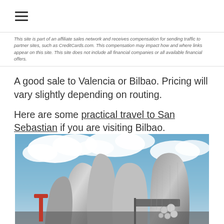≡ (hamburger menu)
This site is part of an affiliate sales network and receives compensation for sending traffic to partner sites, such as CreditCards.com. This compensation may impact how and where links appear on this site. This site does not include all financial companies or all available financial offers.
A good sale to Valencia or Bilbao. Pricing will vary slightly depending on routing.
Here are some practical travel to San Sebastian if you are visiting Bilbao.
[Figure (photo): Exterior photo of the Guggenheim Museum Bilbao showing titanium-clad curved architecture against a blue sky with clouds, with a red sculpture and metallic spherical artwork in the foreground.]